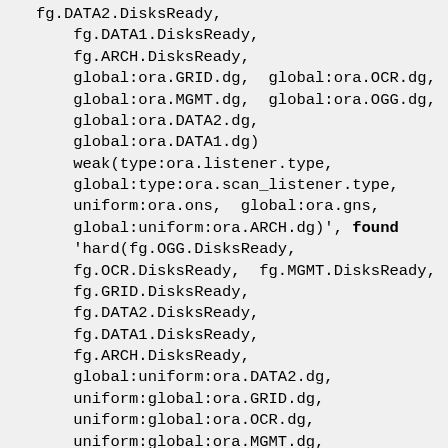fg.DATA2.DisksReady,
    fg.DATA1.DisksReady,
    fg.ARCH.DisksReady,
    global:ora.GRID.dg,  global:ora.OCR.dg,
    global:ora.MGMT.dg,  global:ora.OGG.dg,
    global:ora.DATA2.dg,
    global:ora.DATA1.dg)
    weak(type:ora.listener.type,
    global:type:ora.scan_listener.type,
    uniform:ora.ons,  global:ora.gns,
    global:uniform:ora.ARCH.dg)', found
    'hard(fg.OGG.DisksReady,
    fg.OCR.DisksReady,  fg.MGMT.DisksReady,
    fg.GRID.DisksReady,
    fg.DATA2.DisksReady,
    fg.DATA1.DisksReady,
    fg.ARCH.DisksReady,
    global:uniform:ora.DATA2.dg,
    uniform:global:ora.GRID.dg,
    uniform:global:ora.OCR.dg,
    uniform:global:ora.MGMT.dg,
    uniform:global:ora.OGG.dg,
    global:uniform:ora.ARCH.dg,
    global:uniform:ora.DATA1.dg)
    pullup(fg.OGG.DisksReady,
    fg.OCR.DisksReady,  fg.MGMT.DisksReady,